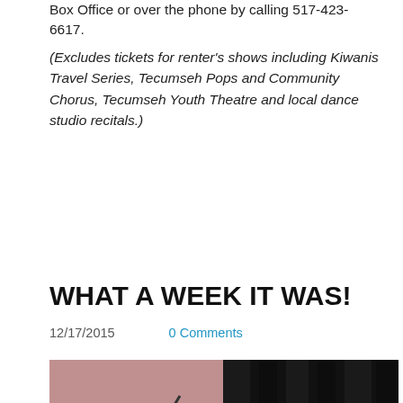Box Office or over the phone by calling 517-423-6617.
(Excludes tickets for renter's shows including Kiwanis Travel Series, Tecumseh Pops and Community Chorus, Tecumseh Youth Theatre and local dance studio recitals.)
[Figure (other): Twitter Tweet button in blue rounded rectangle]
WHAT A WEEK IT WAS!
12/17/2015    0 Comments
[Figure (photo): Two-panel photo: left panel shows a conductor in a red jacket with a baton on a pink/mauve stage; right panel shows musicians performing against a black curtain backdrop]